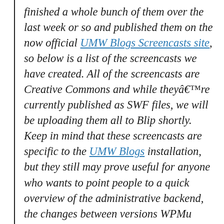finished a whole bunch of them over the last week or so and published them on the now official UMW Blogs Screencasts site, so below is a list of the screencasts we have created. All of the screencasts are Creative Commons and while theyâ€™re currently published as SWF files, we will be uploading them all to Blip shortly. Keep in mind that these screencasts are specific to the UMW Blogs installation, but they still may prove useful for anyone who wants to point people to a quick overview of the administrative backend, the changes between versions WPMu 1.3.3 and 2.6, and a very tab-